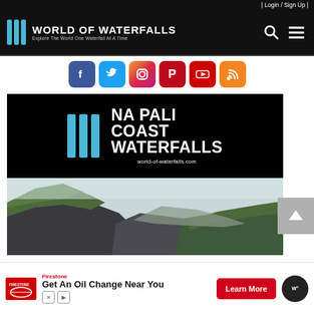| Login / Sign Up |
[Figure (logo): World of Waterfalls logo with three blue vertical bars and text 'World of Waterfalls - Explore The World One Waterfall At A Time']
[Figure (infographic): Social media icons: Facebook, Twitter, Instagram, Pinterest, YouTube, RSS]
[Figure (photo): Na Pali Coast Waterfalls title card with blue bars logo on black background, and landscape photo of rocky green cliffs]
Firestone
Get An Oil Change Near You
Learn More